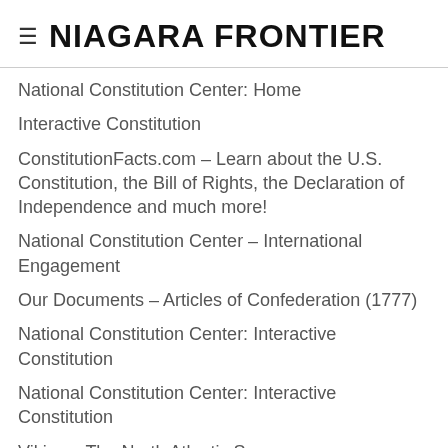≡ NIAGARA FRONTIER
National Constitution Center: Home
Interactive Constitution
ConstitutionFacts.com – Learn about the U.S. Constitution, the Bill of Rights, the Declaration of Independence and much more!
National Constitution Center – International Engagement
Our Documents – Articles of Confederation (1777)
National Constitution Center: Interactive Constitution
National Constitution Center: Interactive Constitution
Vikings: The North Atlantic Saga
The Conquistadors – PBS
Ian Chadwick's Biography of Henry Hudson, 17th